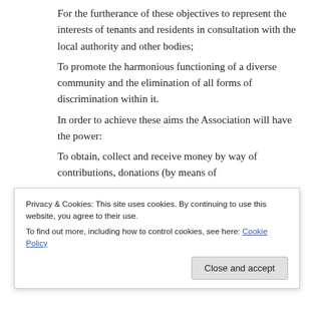For the furtherance of these objectives to represent the interests of tenants and residents in consultation with the local authority and other bodies;
To promote the harmonious functioning of a diverse community and the elimination of all forms of discrimination within it.
In order to achieve these aims the Association will have the power:
To obtain, collect and receive money by way of contributions, donations (by means of
Privacy & Cookies: This site uses cookies. By continuing to use this website, you agree to their use. To find out more, including how to control cookies, see here: Cookie Policy